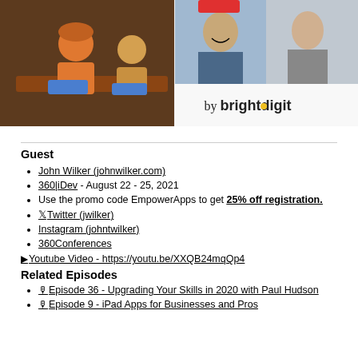[Figure (screenshot): Header image showing a podcast illustration with two figures at a desk on the left, two smiling people in video call thumbnails on the right, and 'by brightdigit' branding text in the center-right area.]
Guest
John Wilker (johnwilker.com)
360|iDev - August 22 - 25, 2021
Use the promo code EmpowerApps to get 25% off registration.
Twitter (jwilker)
Instagram (johntwilker)
360Conferences
Youtube Video - https://youtu.be/XXQB24mqQp4
Related Episodes
Episode 36 - Upgrading Your Skills in 2020 with Paul Hudson
Episode 9 - iPad Apps for Businesses and Pros